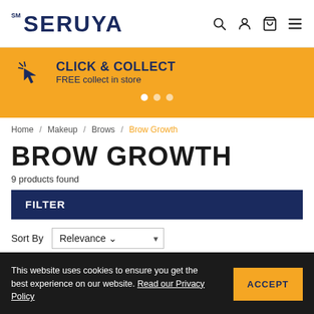SM SERUYA
[Figure (infographic): CLICK & COLLECT banner with pointer cursor icon, text: CLICK & COLLECT / FREE collect in store, with three dot pagination indicators]
Home / Makeup / Brows / Brow Growth
BROW GROWTH
9 products found
FILTER
Sort By Relevance
This website uses cookies to ensure you get the best experience on our website. Read our Privacy Policy